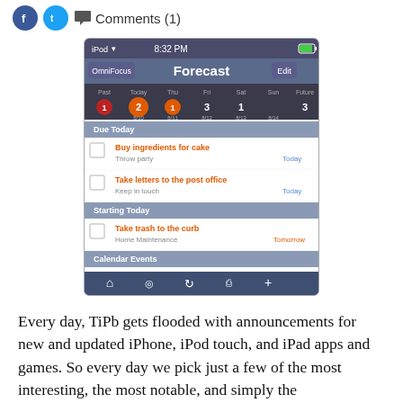Comments (1)
[Figure (screenshot): iPhone/iPod Touch screenshot of OmniFocus app showing Forecast view with Due Today items (Buy ingredients for cake, Take letters to the post office), Starting Today section (Take trash to the curb), and Calendar Events (Meeting 11:00 AM, Dentist 4:00 PM)]
Every day, TiPb gets flooded with announcements for new and updated iPhone, iPod touch, and iPad apps and games. So every day we pick just a few of the most interesting, the most notable, and simply the